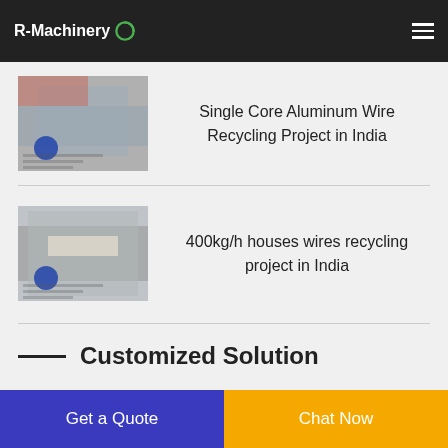R-Machinery
[Figure (photo): Thumbnail image of wire recycling process, hands holding materials]
Single Core Aluminum Wire Recycling Project in India
[Figure (photo): Thumbnail image of wire recycling machine with hands]
400kg/h houses wires recycling project in India
Customized Solution
Get a Quote
Chat Now